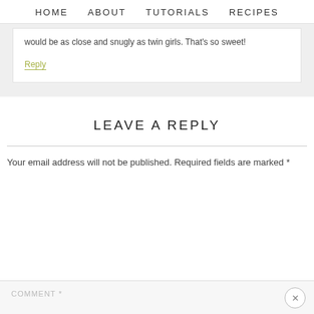HOME   ABOUT   TUTORIALS   RECIPES
would be as close and snugly as twin girls. That’s so sweet!
Reply
LEAVE A REPLY
Your email address will not be published. Required fields are marked *
COMMENT *